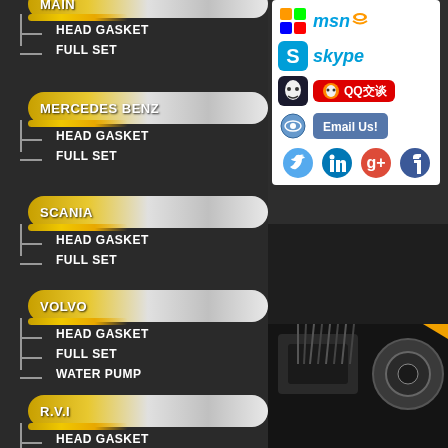MAIN
HEAD GASKET
FULL SET
MERCEDES BENZ
HEAD GASKET
FULL SET
SCANIA
HEAD GASKET
FULL SET
VOLVO
HEAD GASKET
FULL SET
WATER PUMP
R.V.I
HEAD GASKET
FULL SET
[Figure (screenshot): Social media contact icons including MSN, Skype, QQ, Email Us button, and social media icons for Twitter, LinkedIn, Google+, Facebook]
[Figure (photo): Close-up photo of mechanical engine parts, dark industrial setting]